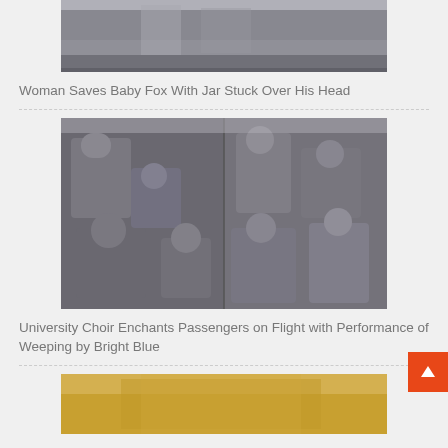[Figure (photo): Top portion of an image showing what appears to be an animal (possibly a cat or fox) on a ledge or surface, cropped at the top of the page]
Woman Saves Baby Fox With Jar Stuck Over His Head
[Figure (photo): Two side-by-side photos of passengers on an airplane, showing a university choir performing, with people singing and smiling in airplane seats]
University Choir Enchants Passengers on Flight with Performance of Weeping by Bright Blue
[Figure (photo): Partial image of what appears to be a lion or large cat with golden fur, cropped at the bottom of the page]